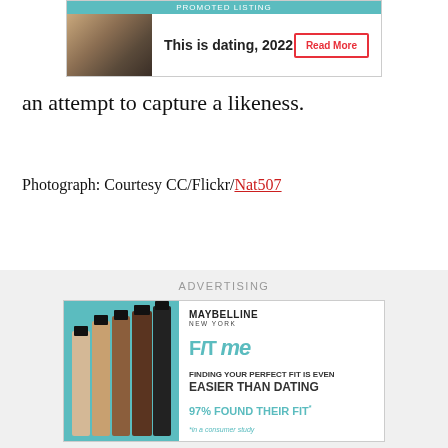[Figure (screenshot): Promoted listing advertisement for 'This is dating, 2022' with a couple photo on the left, bold title in center, and a red-outlined Read More button on the right. Teal PROMOTED LISTING label at the top.]
an attempt to capture a likeness.
Photograph: Courtesy CC/Flickr/Nat507
ADVERTISING
[Figure (screenshot): Maybelline New York FIT me advertisement showing foundation bottles on left on teal background. White panel on right with text: FINDING YOUR PERFECT FIT IS EVEN EASIER THAN DATING 97% FOUND THEIR FIT* *in a consumer study]